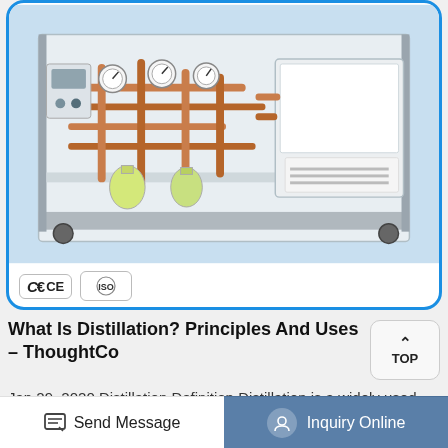[Figure (photo): Industrial distillation unit on a stainless steel frame with copper/red pipes, gauges, and a white cooling/electrical unit, with CE and ISO certification badges below]
What Is Distillation? Principles And Uses - ThoughtCo
Jan 29, 2020 Distillation Definition Distillation is a widely used method for separating mixtures based on differences in the conditions required to change the phase of …
Get Details
Send Message  Inquiry Online